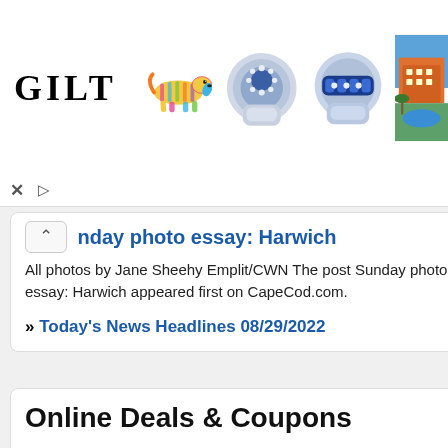[Figure (other): GILT advertisement banner with logo text 'GILT', a colorful dachshund figurine, two diamond and sapphire rings, and a resort photo]
Sunday photo essay: Harwich
All photos by Jane Sheehy Emplit/CWN The post Sunday photo essay: Harwich appeared first on CapeCod.com.
» Today's News Headlines 08/29/2022
Online Deals & Coupons
Living Social Daily Deals
Travel & Vacation Deals, Coupons & Offers
TripAdvisor Cape Cod Hotel Deals
Gifts Deals & Coupons